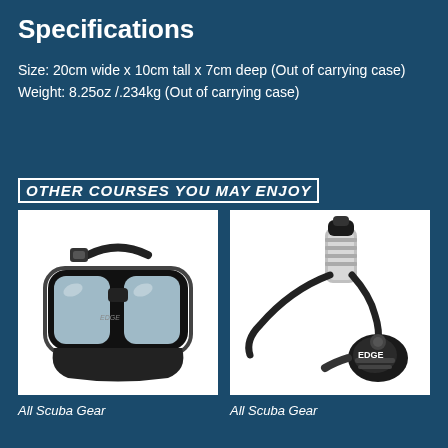Specifications
Size: 20cm wide x 10cm tall x 7cm deep (Out of carrying case)
Weight: 8.25oz /.234kg (Out of carrying case)
OTHER COURSES YOU MAY ENJOY
[Figure (photo): Black scuba diving mask with clear lenses and black silicone straps on white background]
[Figure (photo): Scuba diving regulator with silver first stage and black second stage marked EDGE on white background]
All Scuba Gear
All Scuba Gear